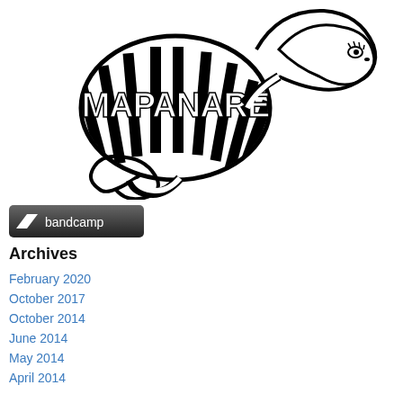[Figure (logo): Mapanare snake logo — a stylized serpent coiled around an oval body with the text MAPANARE written in decorative lettering inside the oval body of the snake. Black ink illustration on white background.]
[Figure (logo): Bandcamp button — dark rounded rectangle with a parallelogram icon and the word bandcamp in white text.]
Archives
February 2020
October 2017
October 2014
June 2014
May 2014
April 2014